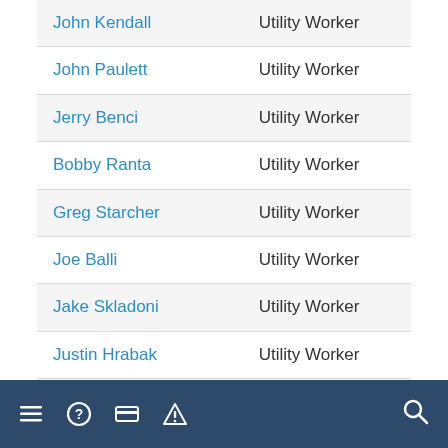| Name | Title |
| --- | --- |
| John Kendall | Utility Worker |
| John Paulett | Utility Worker |
| Jerry Benci | Utility Worker |
| Bobby Ranta | Utility Worker |
| Greg Starcher | Utility Worker |
| Joe Balli | Utility Worker |
| Jake Skladoni | Utility Worker |
| Justin Hrabak | Utility Worker |
| Harvey Johnson | Utility Worker |
Navigation bar with menu, help, card, alert, and search icons